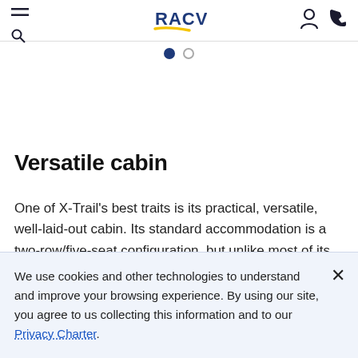RACV [navigation header with hamburger menu, search, logo, account icon, phone icon]
[Figure (other): Pagination indicator with two dots: first dot filled dark blue, second dot empty/outline]
Versatile cabin
One of X-Trail's best traits is its practical, versatile, well-laid-out cabin. Its standard accommodation is a two-row/five-seat configuration, but unlike most of its competitors Nissan also caters for larger families with the
We use cookies and other technologies to understand and improve your browsing experience. By using our site, you agree to us collecting this information and to our Privacy Charter.